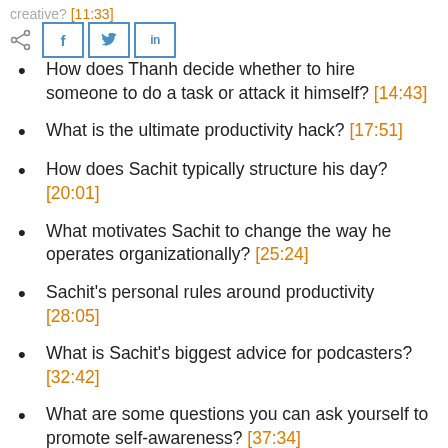creative? [11:33]
[Figure (other): Share icon and social media buttons: Facebook (f), Twitter (bird icon), LinkedIn (in)]
How does Thanh decide whether to hire someone to do a task or attack it himself? [14:43]
What is the ultimate productivity hack? [17:51]
How does Sachit typically structure his day? [20:01]
What motivates Sachit to change the way he operates organizationally? [25:24]
Sachit's personal rules around productivity [28:05]
What is Sachit's biggest advice for podcasters? [32:42]
What are some questions you can ask yourself to promote self-awareness? [37:34]
What is something Thanh tends to underestimate in